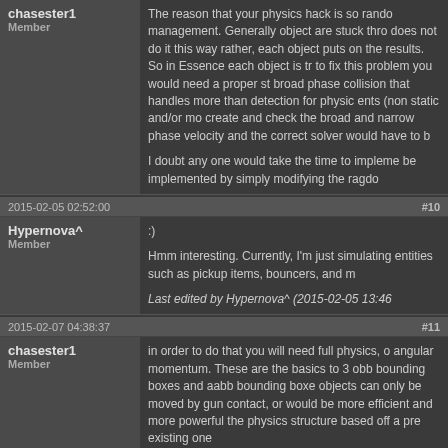The reason that your physics hack is so random is memory management. Generally object are stuck thro... does not do it this way rather, each object puts... on the results. So in Essence each object is tr... to fix this problem you would need a proper st... broad phase collision that handles more than ... detection for physic ents (non static and/or mo... create and check the broad and narrow phase... velocity and the correct solver would have to b...
I doubt any one would take the time to implem... be implemented by simply modifying the ragdo...
2015-02-05 02:52:00 #10
Hypernova^
Member
:)
Hmm interesting. Currently, I'm just simulating entities such as pickup items, bouncers, and m...
Last edited by Hypernova^ (2015-02-05 13:46...
2015-02-07 04:38:37 #11
chasester1
Member
in order to do that you will need full physics, o... angular momentum. These are the basics to 3... obb bounding boxes and aabb bounding boxe... objects can only be moved by gun contact, or ... would be more efficient and more powerful the... physics structure based off a pre existing one ...
cube has really reached a poimt where it nee... games can live with out physics.
2015-02-12 23:58:49 #12
gava wrote: